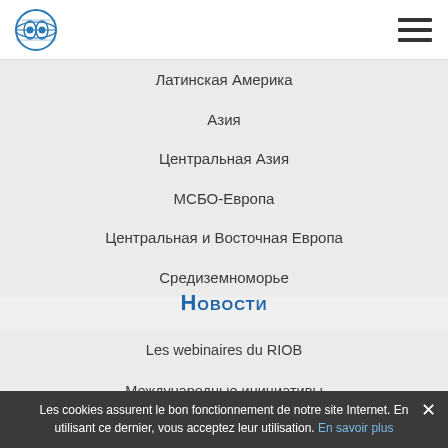RIOB logo and hamburger menu
Латинская Америка
Азия
Центральная Азия
МСБО-Европа
Центральная и Восточная Европа
Средиземноморье
Новости
Les webinaires du RIOB
Международные инициативы
Les cookies assurent le bon fonctionnement de notre site Internet. En utilisant ce dernier, vous acceptez leur utilisation. En savoir plus